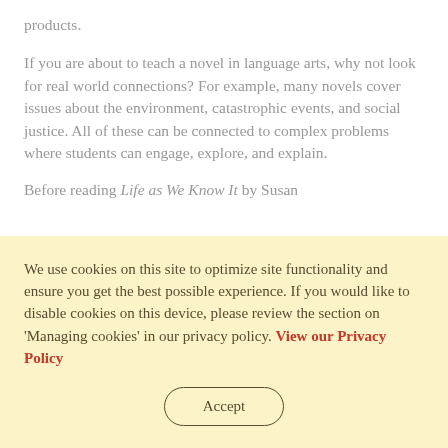products.
If you are about to teach a novel in language arts, why not look for real world connections? For example, many novels cover issues about the environment, catastrophic events, and social justice. All of these can be connected to complex problems where students can engage, explore, and explain.
Before reading Life as We Know It by Susan
We use cookies on this site to optimize site functionality and ensure you get the best possible experience. If you would like to disable cookies on this device, please review the section on 'Managing cookies' in our privacy policy. View our Privacy Policy
Accept